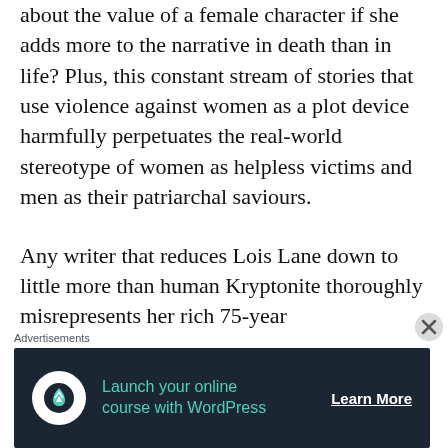about the value of a female character if she adds more to the narrative in death than in life? Plus, this constant stream of stories that use violence against women as a plot device harmfully perpetuates the real-world stereotype of women as helpless victims and men as their patriarchal saviours.
Any writer that reduces Lois Lane down to little more than human Kryptonite thoroughly misrepresents her rich 75-year
Advertisements
[Figure (other): Advertisement banner with dark background showing 'Launch your online course with WordPress' with a WordPress-style tree icon and 'Learn More' button]